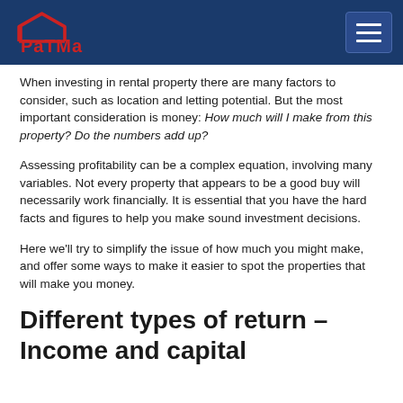PaTMa
When investing in rental property there are many factors to consider, such as location and letting potential. But the most important consideration is money: How much will I make from this property? Do the numbers add up?
Assessing profitability can be a complex equation, involving many variables. Not every property that appears to be a good buy will necessarily work financially. It is essential that you have the hard facts and figures to help you make sound investment decisions.
Here we'll try to simplify the issue of how much you might make, and offer some ways to make it easier to spot the properties that will make you money.
Different types of return – Income and capital